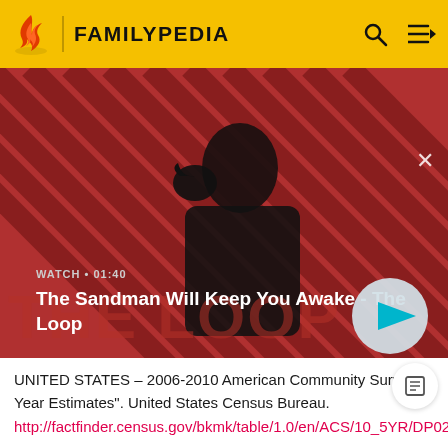FAMILYPEDIA
[Figure (screenshot): Video thumbnail showing a dark-cloaked figure with a raven against a red and black diagonal striped background. Text overlay: WATCH 01:40 / The Sandman Will Keep You Awake - The Loop. Play button (circle with triangle) visible at bottom right.]
UNITED STATES – 2006-2010 American Community Survey 5-Year Estimates". United States Census Bureau. http://factfinder.census.gov/bkmk/table/1.0/en/ACS/10_5YR/DP02/0500000US39011.